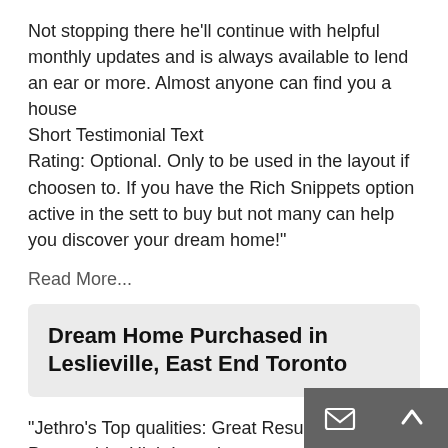Not stopping there he'll continue with helpful monthly updates and is always available to lend an ear or more. Almost anyone can find you a house
Short Testimonial Text
Rating: Optional. Only to be used in the layout if choosen to. If you have the Rich Snippets option active in the sett to buy but not many can help you discover your dream home!"
Read More...
Dream Home Purchased in Leslieville, East End Toronto
"Jethro's Top qualities: Great Results, Personable, High Integrity.
Jethro took the time to explain everything involved in buying a home, beyond what was needed for real estate agent buyer interactions. His reliability and quality of customer service went above and beyond what you'd expect from any sort of direct agent."